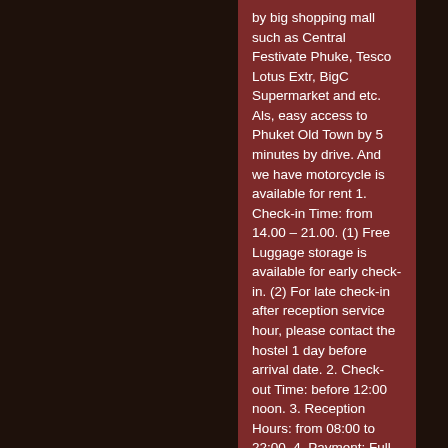by big shopping mall such as Central Festivate Phuke, Tesco Lotus Extr, BigC Supermarket and etc. Als, easy access to Phuket Old Town by 5 minutes by drive. And we have motorcycle is available for rent 1. Check-in Time: from 14.00 – 21.00. (1) Free Luggage storage is available for early check-in. (2) For late check-in after reception service hour, please contact the hostel 1 day before arrival date. 2. Check-out Time: before 12:00 noon. 3. Reception Hours: from 08:00 to 22:00. 4. Payment: Full payment is requested on arrival in cash only THB or credit card (Vis, Master). 5. Cancellation Policy: (1) This property has a 3 days cancellation policy. (2) Failure to cancel within this time will result in a cancellation charge equal to the first night balance of your stay. 6. Age Restriction: